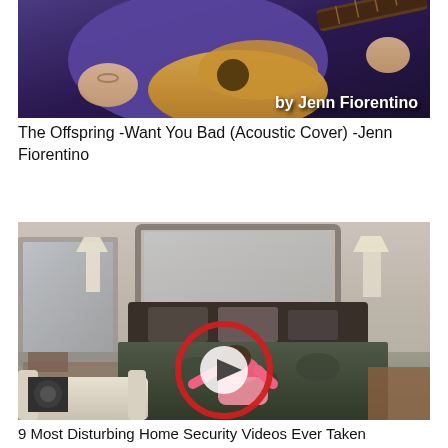[Figure (screenshot): Thumbnail image of a person playing acoustic guitar with text overlay 'by Jenn Fiorentino' on dark purple background]
The Offspring -Want You Bad (Acoustic Cover) -Jenn Fiorentino
[Figure (screenshot): Thumbnail image of a bedroom scene with a child/person in pink on a bed, overlaid with a red play button circle]
9 Most Disturbing Home Security Videos Ever Taken